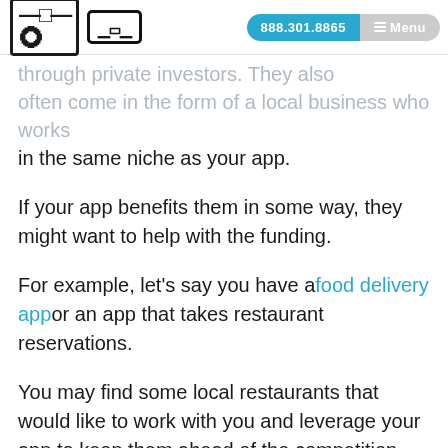GFD logo | 888.301.8865 | Menu
through private investors. They also often come in the form of a local business who works in the same niche as your app.
If your app benefits them in some way, they might want to help with the funding.
For example, let's say you have a food delivery app or an app that takes restaurant reservations.
You may find some local restaurants that would like to work with you and leverage your app to keep them ahead of the competition.
This is a good option if your app idea fits into a particular industry or niche.